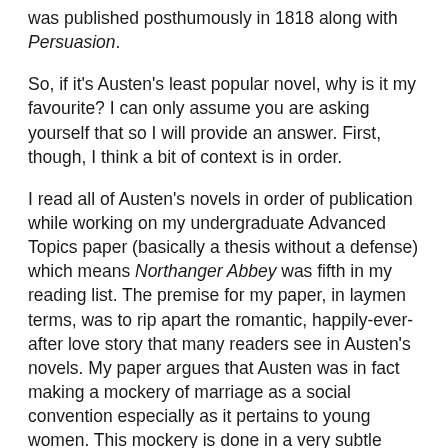was published posthumously in 1818 along with Persuasion.
So, if it's Austen's least popular novel, why is it my favourite? I can only assume you are asking yourself that so I will provide an answer. First, though, I think a bit of context is in order.
I read all of Austen's novels in order of publication while working on my undergraduate Advanced Topics paper (basically a thesis without a defense) which means Northanger Abbey was fifth in my reading list. The premise for my paper, in laymen terms, was to rip apart the romantic, happily-ever-after love story that many readers see in Austen's novels. My paper argues that Austen was in fact making a mockery of marriage as a social convention especially as it pertains to young women. This mockery is done in a very subtle manner and is therefore easy to miss, but that subtlety is the brilliance that is Jane Austen and also the reason I love her work.
So, back to the reason that Northanger Abbey is my favorite novel. Of all of her novels, Northanger Abbey is the least